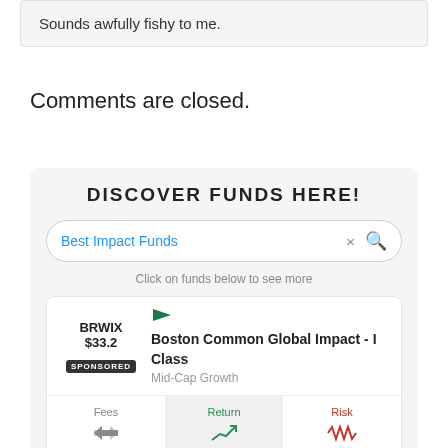Sounds awfully fishy to me.
Comments are closed.
DISCOVER FUNDS HERE!
Best Impact Funds
Click on funds below to see more
|  | Fund |  |
| --- | --- | --- |
| BRWIX $33.2 SPONSORED | Boston Common Global Impact - I Class Mid-Cap Growth |  |
| Fees 0.93% | Return 4.49% | Risk 21.13% |